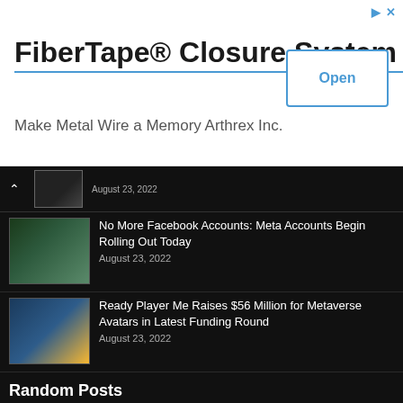[Figure (screenshot): Advertisement banner: FiberTape® Closure System by Arthrex Inc. with Open button]
FiberTape® Closure System
Make Metal Wire a Memory Arthrex Inc.
[Figure (screenshot): Thumbnail image of VR headset article]
August 23, 2022
[Figure (photo): Woman wearing Meta VR headset]
No More Facebook Accounts: Meta Accounts Begin Rolling Out Today
August 23, 2022
[Figure (photo): Group of colorful metaverse avatars]
Ready Player Me Raises $56 Million for Metaverse Avatars in Latest Funding Round
August 23, 2022
Random Posts
[Figure (screenshot): VR collaboration tool Vive Sync screenshot showing virtual studio]
HTC is Launches Its Remote VR Collaboration Tool Vive Sync
April 30, 2020
HTC has launched its remote virtual reality collaboration tool Vive Sync in a free open beta. ...
You Can Now Try On Your Issues Remotely in AR With